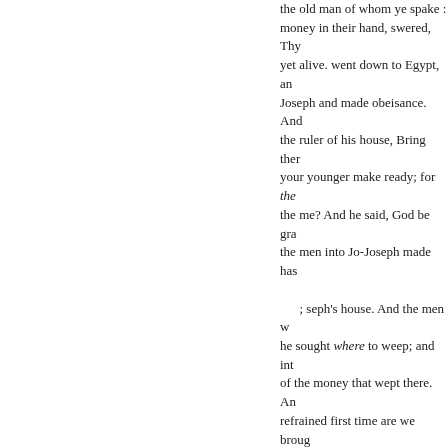the old man of whom ye spake : money in their hand, swered, Thy yet alive. went down to Egypt, an Joseph and made obeisance. And the ruler of his house, Bring ther your younger make ready; for the the me? And he said, God be gra the men into Jo-Joseph made has ; seph's house. And the men w he sought where to weep; and int of the money that wept there. An refrained first time are we broug And they set on for him by hima and our asses. And and for the Eg themselves: beJoseph's house, an eat bread with the Hebrews; for t down at the first Egyptians. And according to pass, when we came according to his youth: and the b of his sack, our mo- And he took him : but brought it again in our brought much as any of their's. A
« Önceki